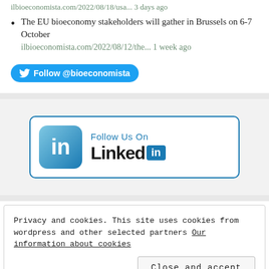The EU bioeconomy stakeholders will gather in Brussels on 6-7 October ilbioeconomista.com/2022/08/12/the... 1 week ago
[Figure (other): Twitter Follow button: Follow @bioeconomista]
[Figure (other): LinkedIn Follow Us On banner with LinkedIn logo and wordmark]
Privacy and cookies. This site uses cookies from wordpress and other selected partners Our information about cookies
Close and accept